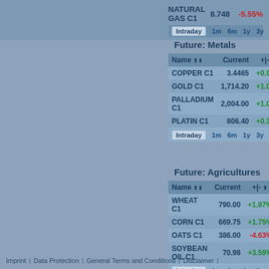NATURAL GAS C1   8.748   -5.55%
| Name | Current | +|- |
| --- | --- | --- |
| COPPER C1 | 3.4465 | +0.94% |
| GOLD C1 | 1,714.20 | +1.04% |
| PALLADIUM C1 | 2,004.00 | +1.07% |
| PLATIN C1 | 806.40 | +0.30% |
Future: Metals
Future: Agricultures
| Name | Current | +|- |
| --- | --- | --- |
| WHEAT C1 | 790.00 | +1.87% |
| CORN C1 | 669.75 | +1.75% |
| OATS C1 | 386.00 | -4.63% |
| SOYBEAN OIL C1 | 70.98 | +3.59% |
Imprint · Data Protection · General Terms and Conditions · Disclaimer